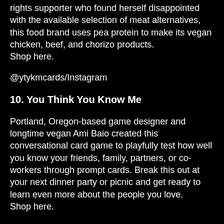rights supporter who found herself disappointed with the available selection of meat alternatives, this food brand uses pea protein to make its vegan chicken, beef, and chorizo products.
Shop here.
@ytykmcards/Instagram
10. You Think You Know Me
Portland, Oregon-based game designer and longtime vegan Ami Baio created this conversational card game to playfully test how well you know your friends, family, partners, or co-workers through prompt cards. Break this out at your next dinner party or picnic and get ready to learn even more about the people you love.
Shop here.
@miakodanewyork/Instagram
11. Miakoda Clothing